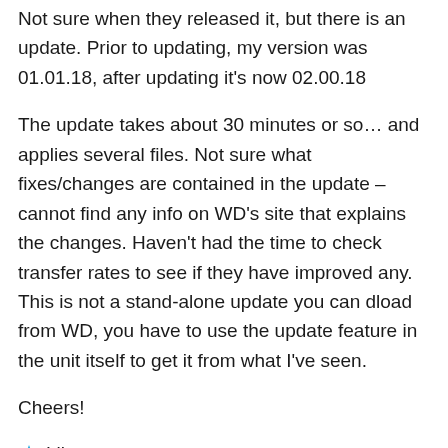Not sure when they released it, but there is an update. Prior to updating, my version was 01.01.18, after updating it's now 02.00.18
The update takes about 30 minutes or so… and applies several files. Not sure what fixes/changes are contained in the update – cannot find any info on WD's site that explains the changes. Haven't had the time to check transfer rates to see if they have improved any. This is not a stand-alone update you can dload from WD, you have to use the update feature in the unit itself to get it from what I've seen.
Cheers!
Like